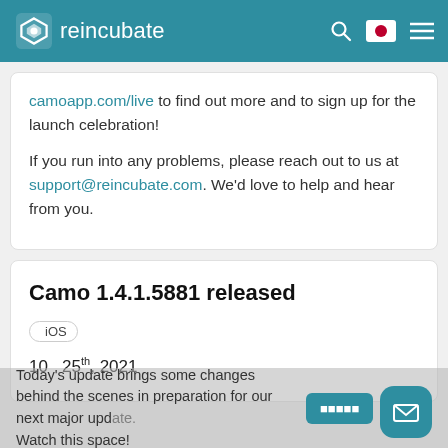reincubate
camoapp.com/live to find out more and to sign up for the launch celebration!
If you run into any problems, please reach out to us at support@reincubate.com. We'd love to help and hear from you.
Camo 1.4.1.5881 released
iOS
10  25th, 2021
Today's update brings some changes behind the scenes in preparation for our next major update. Watch this space!